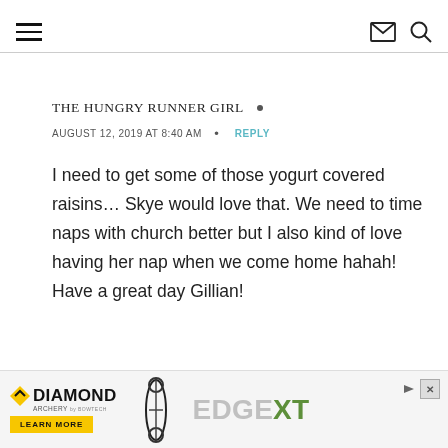THE HUNGRY RUNNER GIRL — navigation header with hamburger menu, mail and search icons
THE HUNGRY RUNNER GIRL •
AUGUST 12, 2019 AT 8:40 AM • REPLY
I need to get some of those yogurt covered raisins… Skye would love that. We need to time naps with church better but I also kind of love having her nap when we come home hahah! Have a great day Gillian!
[Figure (screenshot): Diamond Archery Edge XT advertisement banner at bottom of page]